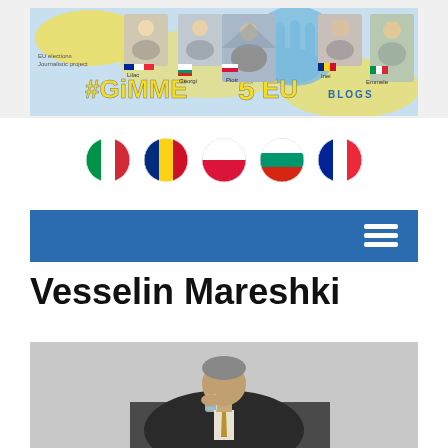[Figure (illustration): #Gimme5EU Blogs banner with journalist portraits, country flags, and stylized yellow graffiti text on blue/yellow background]
[Figure (illustration): Row of 5 circular country flag icons: Italy, Romania, Poland, Bulgaria, France]
[Figure (illustration): Blue navigation bar with hamburger menu icon on right]
Vesselin Mareshki
[Figure (photo): Man in dark suit drinking from a glass, seated]